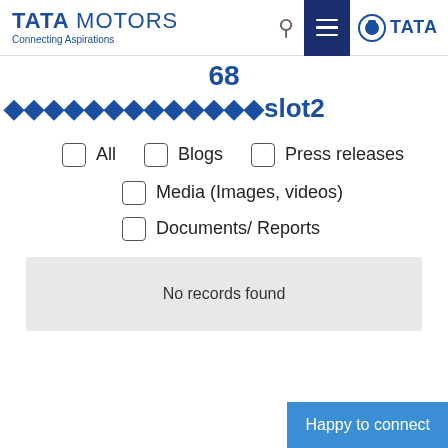TATA MOTORS - Connecting Aspirations
68 ◇◇◇◇◇◇◇◇◇◇◇◇◇slot2
All
Blogs
Press releases
Media (Images, videos)
Documents/ Reports
No records found
Happy to connect